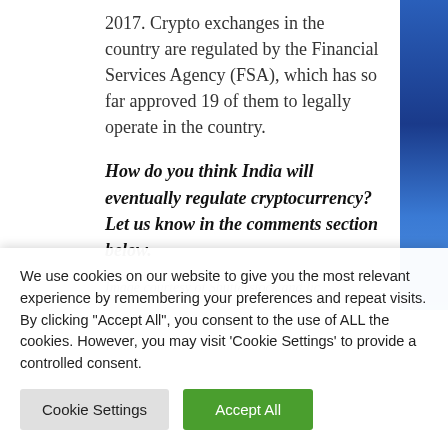2017. Crypto exchanges in the country are regulated by the Financial Services Agency (FSA), which has so far approved 19 of them to legally operate in the country.
How do you think India will eventually regulate cryptocurrency? Let us know in the comments section below.
Image courtesy of Shutterstock and lic...
We use cookies on our website to give you the most relevant experience by remembering your preferences and repeat visits. By clicking "Accept All", you consent to the use of ALL the cookies. However, you may visit 'Cookie Settings' to provide a controlled consent.